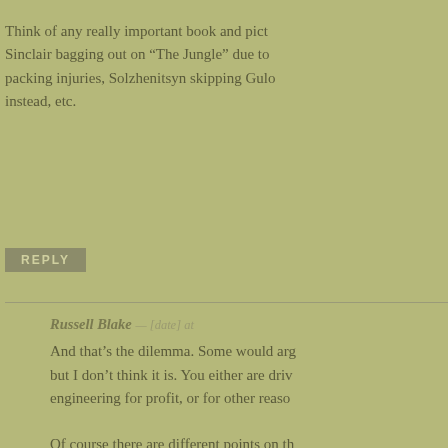Think of any really important book and pict... Sinclair bagging out on “The Jungle” due to packing injuries, Solzhenitsyn skipping Gulo... instead, etc.
REPLY
Russell Blake — [date] — And that’s the dilemma. Some would arg... but I don’t think it is. You either are driv... engineering for profit, or for other reaso...
Of course there are different points on th... but the essential and fundamental questio... way to frame it is, “Would you write if th... making a dime from it?”
If no, then you are likely in Camp A, wit... of caveats. If so, you are in Camp B.
What I am afraid of is that I’ll be brande... who’s down on sales and marketing. Tha... truth. I have spent much of my life in sal...